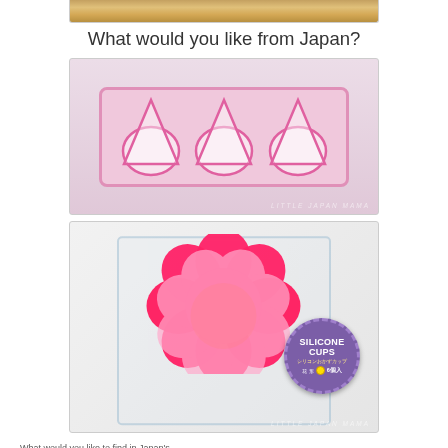[Figure (photo): Bottom portion of a product photo showing golden/beige items on a surface, partially cropped at the top of the page]
What would you like from Japan?
[Figure (photo): Pink silicone onigiri rice ball mold with three triangular-shaped cavities in a pink rectangular mold tray, sitting on a light background. Watermark reads LITTLE JAPAN MAMA at the bottom right.]
[Figure (photo): Hot pink flower-shaped silicone cups stacked inside a clear plastic box packaging. A purple circular sticker label reads SILICONE CUPS with Japanese text, a yellow dot, and 6個入 (6 pieces). Watermark reads LITTLE JAPAN MAMA at the bottom right.]
What would you like to find in Japan's...